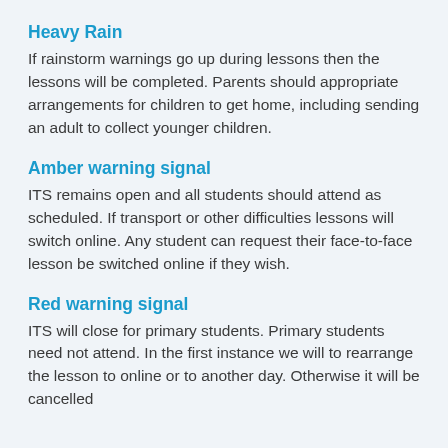Heavy Rain
If rainstorm warnings go up during lessons then the lessons will be completed. Parents should appropriate arrangements for children to get home, including sending an adult to collect younger children.
Amber warning signal
ITS remains open and all students should attend as scheduled. If transport or other difficulties lessons will switch online. Any student can request their face-to-face lesson be switched online if they wish.
Red warning signal
ITS will close for primary students. Primary students need not attend. In the first instance we will to rearrange the lesson to online or to another day. Otherwise it will be cancelled